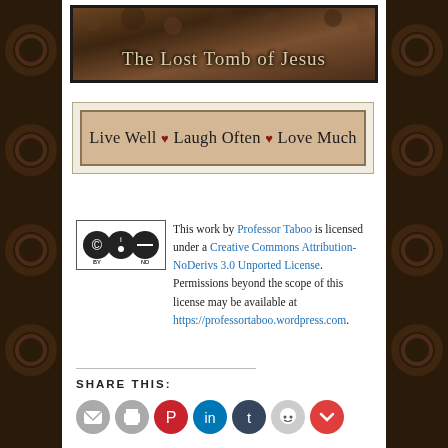[Figure (photo): Book/movie cover image for 'The Lost Tomb of Jesus' with dark decorative background texture]
[Figure (illustration): Decorative wooden sign reading 'Live Well ♥ Laugh Often ♥ Love Much' with tan/beige background and dark border]
This work by Professor Taboo is licensed under a Creative Commons Attribution-NoDerivs 3.0 Unported License. Permissions beyond the scope of this license may be available at https://professortaboo.wordpress.com.
SHARE THIS:
[Figure (illustration): Row of social sharing icon circles: email, print, Pinterest, LinkedIn, Tumblr, Reddit, Pocket]